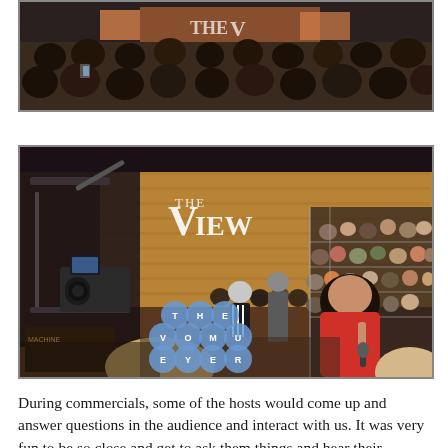[Figure (photo): Top portion of a photo showing a crowd of audience members at what appears to be The View TV show studio, viewed from behind.]
[Figure (photo): Interior of The View TV show studio. A woman in a red top holds a microphone and appears to be speaking or singing. Camera equipment and a crane are visible on the left. The audience sits in bleachers on the right. 'THE VIEW' logo is visible on the back wall. A watermark overlay reads 'THE VOYUY EYERZER' in circular badge style.]
During commercials, some of the hosts would come up and answer questions in the audience and interact with us.  It was very fun to be so close and get to ask them things and hear their personal experiences.  The hour-long show flew by and my